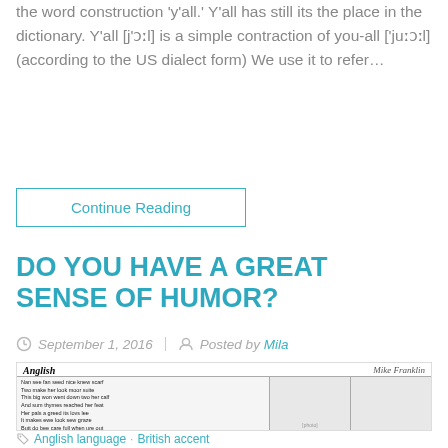the word construction 'y'all.' Y'all has still its the place in the dictionary. Y'all [j'ɔːl] is a simple contraction of you-all ['juːɔːl] (according to the US dialect form) We use it to refer…
Continue Reading
DO YOU HAVE A GREAT SENSE OF HUMOR?
September 1, 2016   Posted by Mila
[Figure (illustration): Comic strip titled 'Anglish' by Mike Franklin showing a poem in the left panel and cartoon character illustrations in the middle and right panels]
Anglish language · British accent